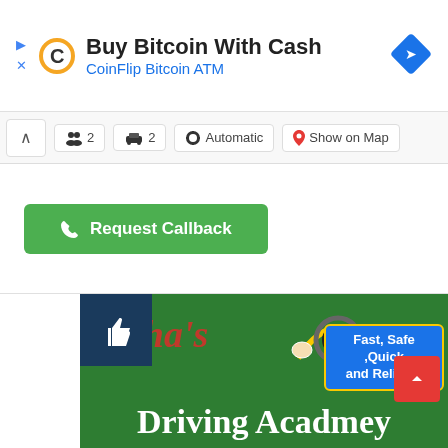[Figure (screenshot): Ad banner for CoinFlip Bitcoin ATM with CoinFlip logo, title 'Buy Bitcoin With Cash' and subtitle 'CoinFlip Bitcoin ATM', plus navigation icon]
[Figure (screenshot): Toolbar with chevron up, people icon '2', car icon '2', grid/automatic icon 'Automatic', pin icon 'Show on Map']
[Figure (screenshot): Green 'Request Callback' button with phone icon]
[Figure (screenshot): Nisha's Driving Academy banner - dark green background with red 'Nisha's' text, 'Driving Acadmey' in white, blue badge 'Fast, Safe ,Quick and Reliable', cartoon driver logo, thumbs up like icon in dark blue box]
Nisha's driving academy
Mount Druitt, NSW 2770